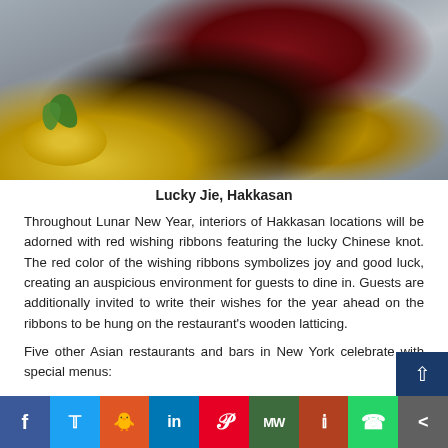[Figure (photo): Close-up food photography showing an artistic dessert/dish: a yellow sauce plate with a round ring, dark chocolate base, red velvet or beet element on top, garnished with green basil leaves and yellow fruit components on a dark wet stone surface.]
Lucky Jie, Hakkasan
Throughout Lunar New Year, interiors of Hakkasan locations will be adorned with red wishing ribbons featuring the lucky Chinese knot. The red color of the wishing ribbons symbolizes joy and good luck, creating an auspicious environment for guests to dine in. Guests are additionally invited to write their wishes for the year ahead on the ribbons to be hung on the restaurant's wooden latticing.
Five other Asian restaurants and bars in New York celebrate with special menus: